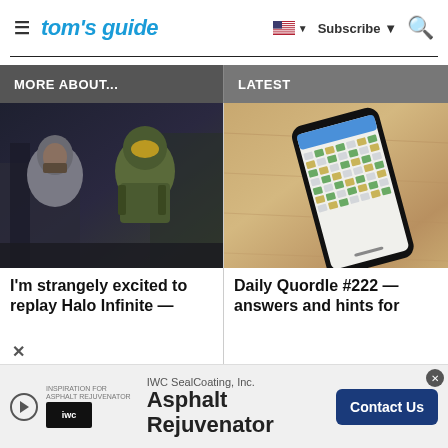tom's guide — Subscribe
MORE ABOUT...
LATEST
[Figure (photo): Screenshot from Halo Infinite showing a character and Master Chief in green armor]
I'm strangely excited to replay Halo Infinite —
[Figure (photo): iPhone showing Quordle game with colored letter tiles on a wooden table]
Daily Quordle #222 — answers and hints for
[Figure (other): Advertisement: IWC SealCoating Inc. Asphalt Rejuvenator — Contact Us]